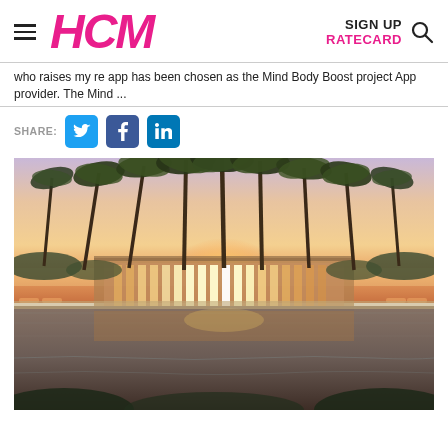HCM | SIGN UP | RATECARD
who raises my re app has been chosen as the Mind Body Boost project App provider. The Mind ...
SHARE:
[Figure (photo): Tropical resort pool at sunset with palm trees reflected in still water, surrounded by lounge chairs and a glass-fronted building]
[Figure (logo): HCM magazine logo in pink italic bold text]